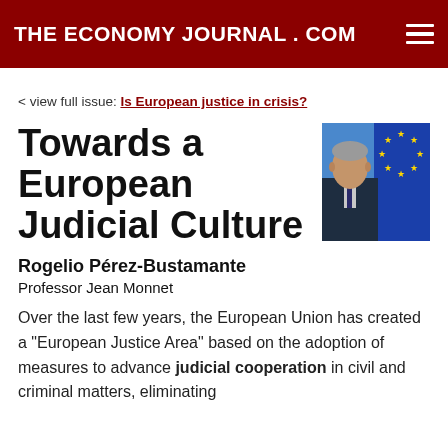THE ECONOMY JOURNAL . COM
< view full issue: Is European justice in crisis?
Towards a European Judicial Culture
[Figure (photo): Photo of Rogelio Pérez-Bustamante in front of European Union flag with yellow stars on blue background]
Rogelio Pérez-Bustamante
Professor Jean Monnet
Over the last few years, the European Union has created a "European Justice Area" based on the adoption of measures to advance judicial cooperation in civil and criminal matters, eliminating